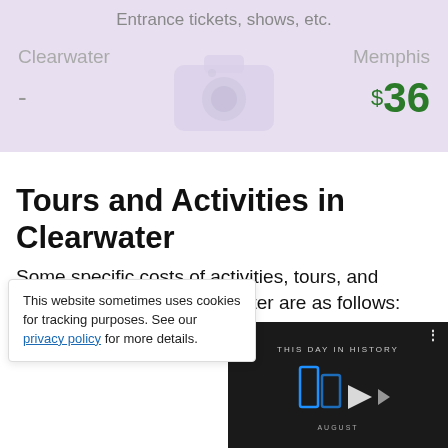Entrance tickets, shows, etc.
Clearwater
-
Memphis
$36
Tours and Activities in Clearwater
Some specific costs of activities, tours, and entrance tickets for Clearwater are as follows:
Adventure Boa...
This website sometimes uses cookies for tracking purposes. See our privacy policy for more details.
[Figure (screenshot): Embedded video player showing 'THIS DAY IN HISTORY' with a logo, play button, AUGUST text, mute icon, progress bar with blue dot, and fullscreen button on dark background.]